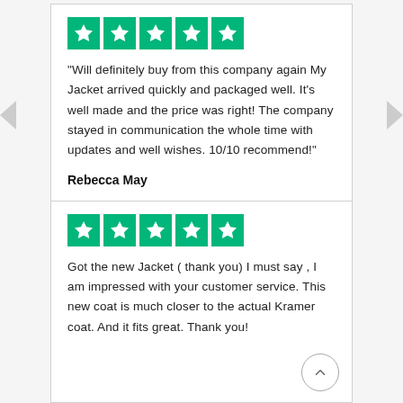[Figure (other): 5-star green Trustpilot-style rating stars for first review]
"Will definitely buy from this company again My Jacket arrived quickly and packaged well. It's well made and the price was right! The company stayed in communication the whole time with updates and well wishes. 10/10 recommend!"
Rebecca May
[Figure (other): 5-star green Trustpilot-style rating stars for second review]
Got the new Jacket ( thank you) I must say , I am impressed with your customer service. This new coat is much closer to the actual Kramer coat. And it fits great. Thank you!